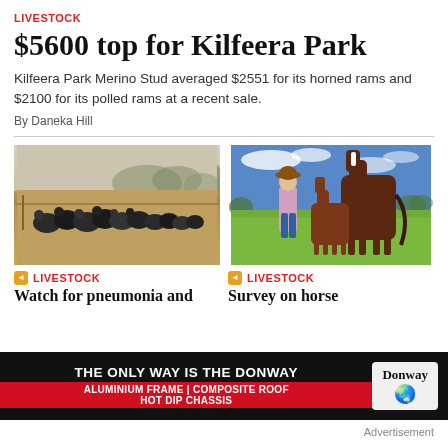LIVESTOCK
$5600 top for Kilfeera Park
Kilfeera Park Merino Stud averaged $2551 for its horned rams and $2100 for its polled rams at a recent sale.
By Daneka Hill
[Figure (photo): Herd of sheep/rams gathered in a dry paddock with misty trees in background]
[Figure (photo): Woman in hat standing next to a horse and foal in a green paddock with blue sky]
LIVESTOCK
LIVESTOCK
Watch for pneumonia and
Survey on horse
[Figure (infographic): Advertisement banner: THE ONLY WAY IS THE DONWAY — ALUMINIUM FRAME | COMPOSITE ROOF — HOT DIP CHASSIS — Donway logo]